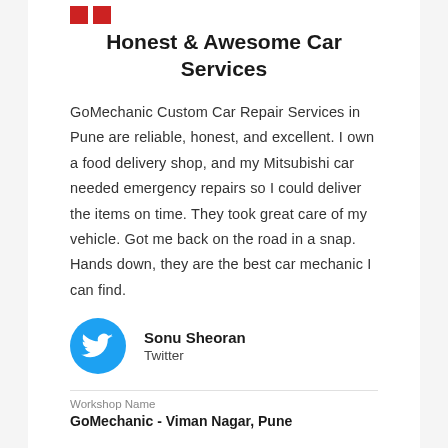[Figure (logo): Two red square blocks side by side, acting as a logo/brand mark]
Honest & Awesome Car Services
GoMechanic Custom Car Repair Services in Pune are reliable, honest, and excellent. I own a food delivery shop, and my Mitsubishi car needed emergency repairs so I could deliver the items on time. They took great care of my vehicle. Got me back on the road in a snap. Hands down, they are the best car mechanic I can find.
Sonu Sheoran
Twitter
Workshop Name
GoMechanic - Viman Nagar, Pune